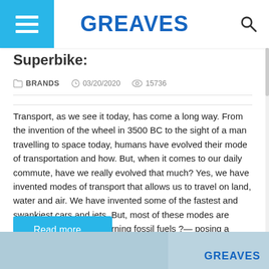GREAVES
Superbike:
BRANDS   03/20/2020   15736
Transport, as we see it today, has come a long way. From the invention of the wheel in 3500 BC to the sight of a man travelling to space today, humans have evolved their mode of transportation and how. But, when it comes to our daily commute, have we really evolved that much? Yes, we have invented modes of transport that allows us to travel on land, water and air. We have invented some of the fastest and swankiest cars and jets. But, most of these modes are heavily dependent on burning fossil fuels ?— posing a threat to the environment and our planet at large.
Read more ...
[Figure (photo): Bottom strip showing partial image with GREAVES logo]